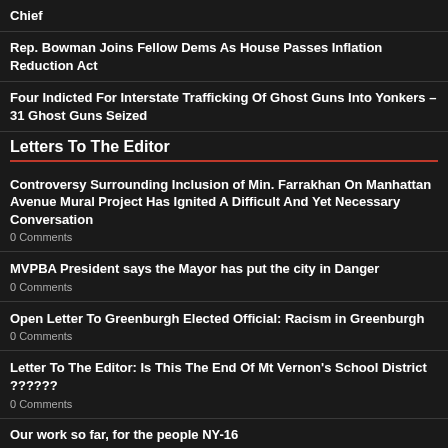Chief
Rep. Bowman Joins Fellow Dems As House Passes Inflation Reduction Act
Four Indicted For Interstate Trafficking Of Ghost Guns Into Yonkers – 31 Ghost Guns Seized
Letters To The Editor
Controversy Surrounding Inclusion of Min. Farrakhan On Manhattan Avenue Mural Project Has Ignited A Difficult And Yet Necessary Conversation
0 Comments
MVPBA President says the Mayor has put the city in Danger
0 Comments
Open Letter To Greenburgh Elected Official: Racism in Greenburgh
0 Comments
Letter To The Editor: Is This The End Of Mt Vernon's School District ??????
0 Comments
Our work so far, for the people NY-16